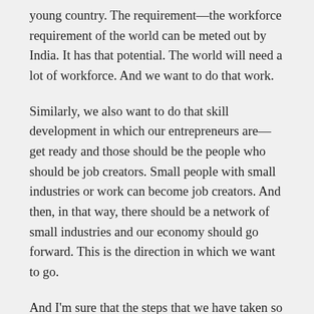young country. The requirement—the workforce requirement of the world can be meted out by India. It has that potential. The world will need a lot of workforce. And we want to do that work.
Similarly, we also want to do that skill development in which our entrepreneurs are—get ready and those should be the people who should be job creators. Small people with small industries or work can become job creators. And then, in that way, there should be a network of small industries and our economy should go forward. This is the direction in which we want to go.
And I'm sure that the steps that we have taken so far, those will have a direct impact, and in the last three